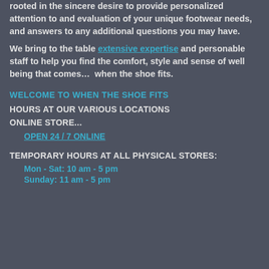rooted in the sincere desire to provide personalized attention to and evaluation of your unique footwear needs, and answers to any additional questions you may have.
We bring to the table extensive expertise and personable staff to help you find the comfort, style and sense of well being that comes…  when the shoe fits.
WELCOME TO WHEN THE SHOE FITS
HOURS AT OUR VARIOUS LOCATIONS
ONLINE STORE...
OPEN 24 / 7 ONLINE
TEMPORARY HOURS AT ALL PHYSICAL STORES:
Mon - Sat: 10 am - 5 pm
Sunday: 11 am - 5 pm